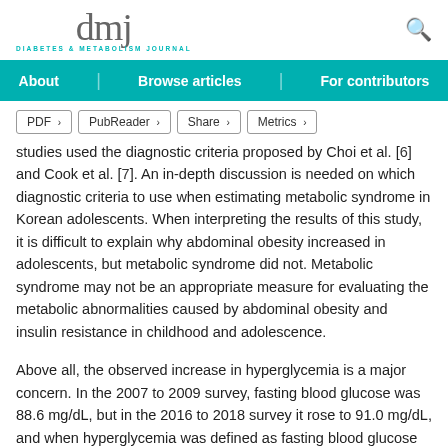dmj — DIABETES & METABOLISM JOURNAL
About | Browse articles | For contributors
PDF > PubReader > Share > Metrics >
studies used the diagnostic criteria proposed by Choi et al. [6] and Cook et al. [7]. An in-depth discussion is needed on which diagnostic criteria to use when estimating metabolic syndrome in Korean adolescents. When interpreting the results of this study, it is difficult to explain why abdominal obesity increased in adolescents, but metabolic syndrome did not. Metabolic syndrome may not be an appropriate measure for evaluating the metabolic abnormalities caused by abdominal obesity and insulin resistance in childhood and adolescence.
Above all, the observed increase in hyperglycemia is a major concern. In the 2007 to 2009 survey, fasting blood glucose was 88.6 mg/dL, but in the 2016 to 2018 survey it rose to 91.0 mg/dL, and when hyperglycemia was defined as fasting blood glucose above 100 mg/dL, the prevalence of hyperglycemia nearly doubled from 5.3% to 10.4%.